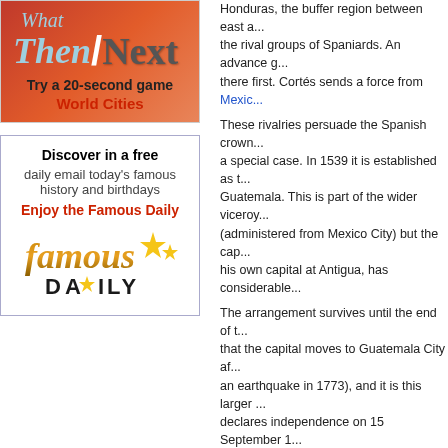[Figure (logo): What Then Next - Try a 20-second game, World Cities advertisement box with red-orange gradient background]
[Figure (logo): Famous Daily - Discover in a free daily email today's famous history and birthdays. Enjoy the Famous Daily. Famous Daily logo with gold stars.]
Honduras, the buffer region between east and west and so between the rival groups of Spaniards. An advance group from Guatemala gets there first. Cortés sends a force from Mexico...
These rivalries persuade the Spanish crown to treat Guatemala as a special case. In 1539 it is established as the captaincy general of Guatemala. This is part of the wider viceroyalty of New Spain (administered from Mexico City) but the captain general, with his own capital at Antigua, has considerable...
The arrangement survives until the end of the colonial period (note that the capital moves to Guatemala City after Antigua is destroyed by an earthquake in 1773), and it is this larger region of Guatemala that declares independence on 15 September 1821 - prompted by neighbouring Mexico, under Agustín de Itur... from Spain.
Central American Federation: 1823-1838
Recognizing the forceful leadership of Iturb... Guatemala offer to merge their region in 18... one nation the previous viceroyalty of New... Iturbide makes himself emperor, in 1822. B... flight from Mexico, in 1823, Guatemala dec... independence.
The region from the southern border of Me... itself to be a new nation. It is to be known a... Federation, with its capital in Guatemala Ci...
The transition to statehood is far from smoo... provinces of the old captaincy general of G... Honduras, Nicaragua and Costa Rica) have...